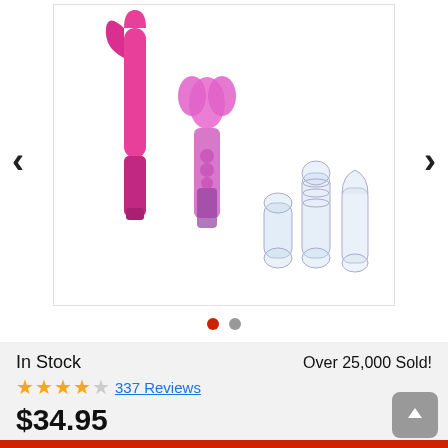[Figure (photo): Product photo showing pink vibrator set with multiple clear attachments on white background]
In Stock
Over 25,000 Sold!
★★★★★ 337 Reviews
$34.95
PayPal Pay in 4 interest-free payments of $8.74. Learn more